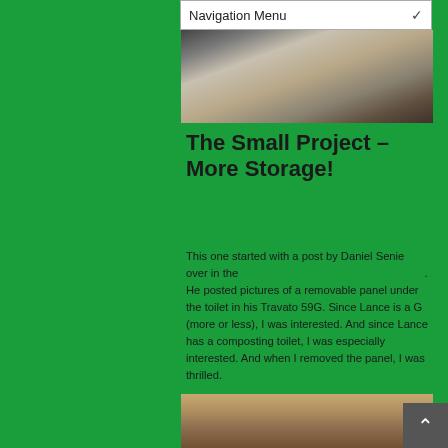Navigation Menu
[Figure (photo): Interior of an RV/Travato showing black leather seats, a decorative pillow with bird print, white mattress/bedding, patterned curtains, and various interior furnishings.]
The Small Project – More Storage!
This one started with a post by Daniel Senie over in the Travato Owner's Group on Facebook.  He posted pictures of a removable panel under the toilet in his Travato 59G.  Since Lance is a G (more or less), I was interested.  And since Lance has a composting toilet, I was especially interested.  And when I removed the panel, I was thrilled.
[Figure (photo): Interior photo showing wood/lumber materials, likely inside an RV storage or underfloor compartment.]